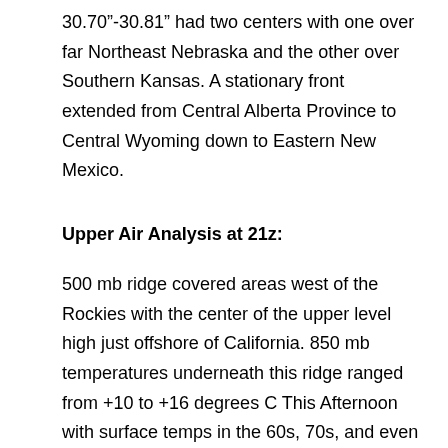30.70"-30.81" had two centers with one over far Northeast Nebraska and the other over Southern Kansas. A stationary front extended from Central Alberta Province to Central Wyoming down to Eastern New Mexico.
Upper Air Analysis at 21z:
500 mb ridge covered areas west of the Rockies with the center of the upper level high just offshore of California. 850 mb temperatures underneath this ridge ranged from +10 to +16 degrees C This Afternoon with surface temps in the 60s, 70s, and even some 80s from Oregon through California down into Arizona. Minnesota remains well to the east of this upper ridge with arctic air remaining in place with 850 mb temps This Afternoon ranging from -24 to -26 degrees C over Northern and Eastern Minnesota to -20 degrees C in Southwest and far Western Minnesota.
...